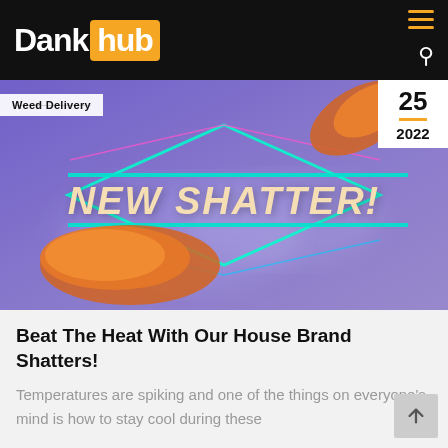Dank hub
[Figure (photo): Promotional banner image for 'New Shatter!' featuring shatter cannabis concentrate pieces on a purple/blue smoky neon-lit background with diamond neon lines and the text 'NEW SHATTER!' in large italic lettering. A 'Weed Delivery' tag is in the top left and a date badge showing '25 / 2022' in the top right.]
Beat The Heat With Our House Brand Shatters!
Temperatures are spiking and one of the things on everyone's mind is how to stay cool during these